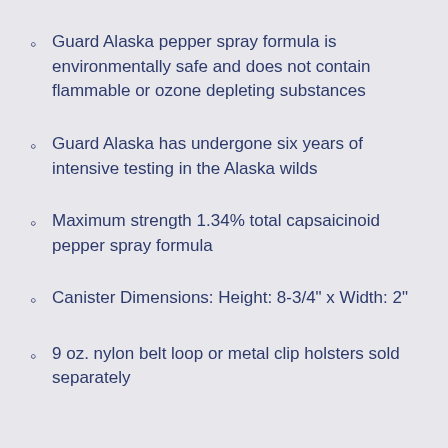Guard Alaska pepper spray formula is environmentally safe and does not contain flammable or ozone depleting substances
Guard Alaska has undergone six years of intensive testing in the Alaska wilds
Maximum strength 1.34% total capsaicinoid pepper spray formula
Canister Dimensions: Height: 8-3/4" x Width: 2"
9 oz. nylon belt loop or metal clip holsters sold separately